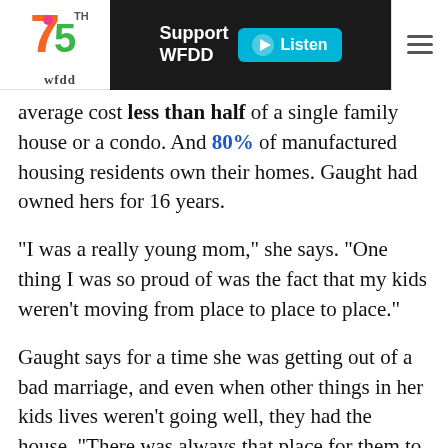wfdd | Support WFDD | Listen
average cost less than half of a single family house or a condo. And 80% of manufactured housing residents own their homes. Gaught had owned hers for 16 years.
"I was a really young mom," she says. "One thing I was so proud of was the fact that my kids weren't moving from place to place to place."
Gaught says for a time she was getting out of a bad marriage, and even when other things in her kids lives weren't going well, they had the house. "There was always that place for them to come home to. It was the safe place."
But the pandemic is laying bare that mobile